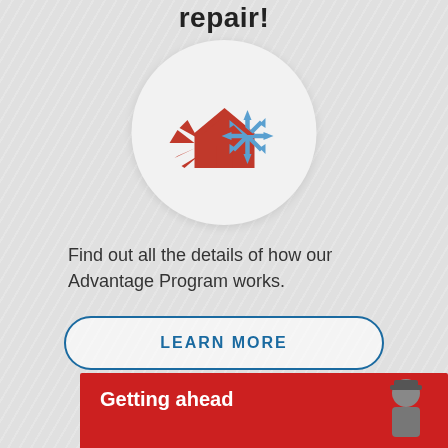repair!
[Figure (illustration): Circular icon showing a house with red flame/sunburst on the left side and blue snowflake on the right side, representing heating and cooling]
Find out all the details of how our Advantage Program works.
LEARN MORE
Getting ahead